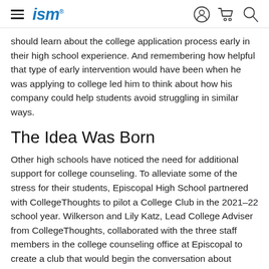ism
should learn about the college application process early in their high school experience. And remembering how helpful that type of early intervention would have been when he was applying to college led him to think about how his company could help students avoid struggling in similar ways.
The Idea Was Born
Other high schools have noticed the need for additional support for college counseling. To alleviate some of the stress for their students, Episcopal High School partnered with CollegeThoughts to pilot a College Club in the 2021–22 school year. Wilkerson and Lily Katz, Lead College Adviser from CollegeThoughts, collaborated with the three staff members in the college counseling office at Episcopal to create a club that would begin the conversation about